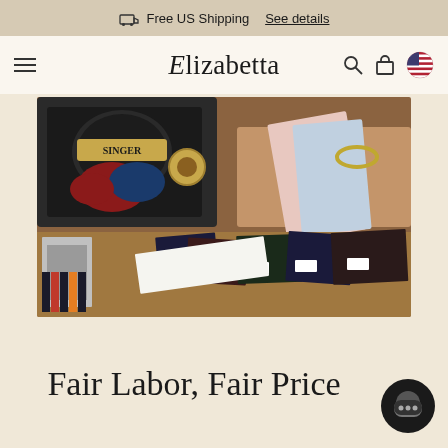Free US Shipping  See details
[Figure (logo): Elizabetta brand logo with italic E and serif text]
[Figure (photo): A person's hands working with fabric swatches and ties near a vintage Singer sewing machine on a wooden table. Various fabric samples and pocket squares are spread across the table.]
Fair Labor, Fair Price